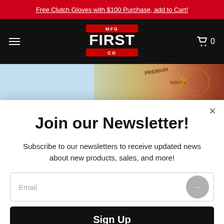Free Clutch Gloves with $100 Purchase, add to Cart!
[Figure (logo): MFG First Co logo — white text on black background with red accent bars]
[Figure (photo): Partial product image strip showing colorful product packaging with 'PREMIUM', 'SOUTH' text visible]
Join our Newsletter!
Subscribe to our newsletters to receive updated news about new products, sales, and more!
Email
Sign Up